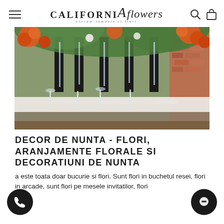CALIFORNIA flowers — Livram zambete si flori
[Figure (photo): Wedding reception table decorated with tall glass vase arrangements holding orange roses and white flowers with greenery overhead, set on a long table with white place settings and glassware, in a venue with brick walls.]
DECOR DE NUNTA - FLORI, ARANJAMENTE FLORALE SI DECORATIUNI DE NUNTA
a este toata doar bucurie si flori. Sunt flori in buchetul resei, flori in arcade, sunt flori pe mesele invitatilor, flori